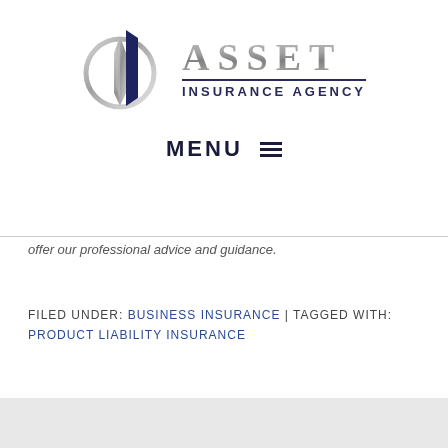[Figure (logo): Asset Insurance Agency logo with stylized building/shield icon in silver and navy, and text 'ASSET INSURANCE AGENCY']
MENU ≡
offer our professional advice and guidance.
FILED UNDER: BUSINESS INSURANCE | TAGGED WITH: PRODUCT LIABILITY INSURANCE